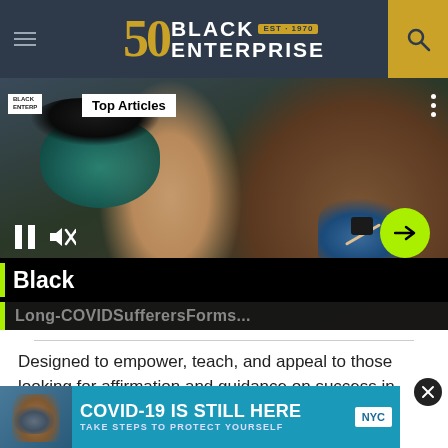BLACK ENTERPRISE — EST. 1970
[Figure (screenshot): Video player showing a person wearing a green face mask receiving a vaccine injection. Top Articles badge visible. Overlay text: Black / Long-COVIDSufferersForms...]
Designed to empower, teach, and appeal to those looking for affirmation and guidance on success in health ... bring ...
[Figure (screenshot): COVID-19 IS STILL HERE / TAKE STEPS TO PROTECT YOURSELF / NYC advertisement banner]